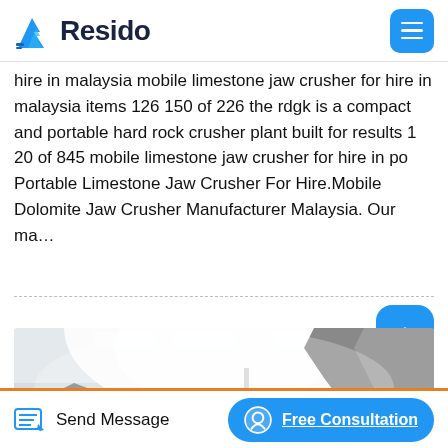Resido
hire in malaysia mobile limestone jaw crusher for hire in malaysia items 126 150 of 226 the rdgk is a compact and portable hard rock crusher plant built for results 1 20 of 845 mobile limestone jaw crusher for hire in po Portable Limestone Jaw Crusher For Hire.Mobile Dolomite Jaw Crusher Manufacturer Malaysia. Our ma…
[Figure (photo): Industrial interior showing crushing machinery with mist/dust in air, red-accented equipment and structural framework visible, bright overhead lighting creating a hazy atmosphere]
Send Message   Free Consultation